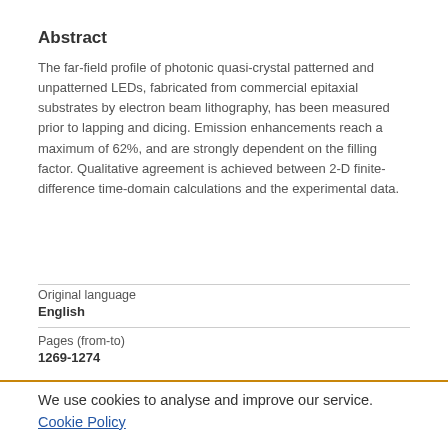Abstract
The far-field profile of photonic quasi-crystal patterned and unpatterned LEDs, fabricated from commercial epitaxial substrates by electron beam lithography, has been measured prior to lapping and dicing. Emission enhancements reach a maximum of 62%, and are strongly dependent on the filling factor. Qualitative agreement is achieved between 2-D finite-difference time-domain calculations and the experimental data.
Original language
English
Pages (from-to)
1269-1274
We use cookies to analyse and improve our service.  Cookie Policy